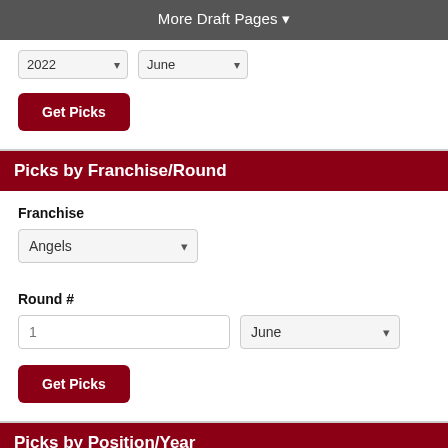More Draft Pages ▼
2022  June  (dropdowns)
Get Picks (button)
Picks by Franchise/Round
Franchise
Angels (dropdown)
Round #
1 (input), June (dropdown)
Get Picks (button)
Picks by Position/Year
C (dropdown)